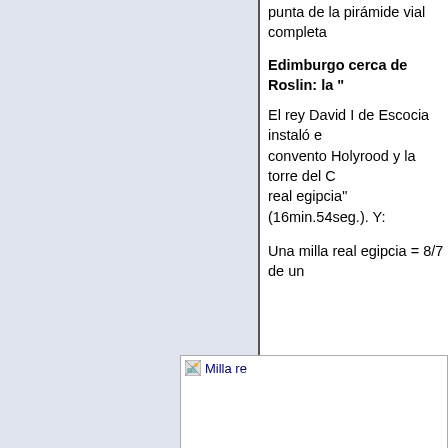punta de la pirámide vial completa
Edimburgo cerca de Roslin: la "
El rey David I de Escocia instaló e convento Holyrood y la torre del C real egipcia" (16min.54seg.). Y:
Una milla real egipcia = 8/7 de un
[Figure (photo): Broken image placeholder labeled 'Milla re' (image not loaded)]